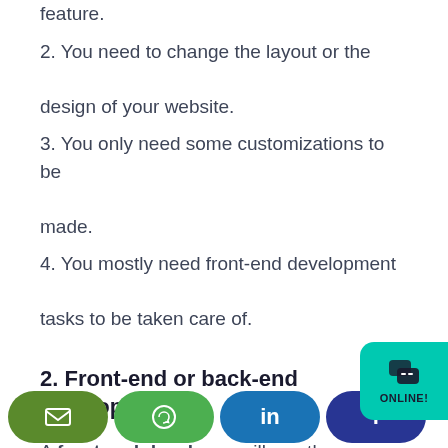feature.
2. You need to change the layout or the design of your website.
3. You only need some customizations to be made.
4. You mostly need front-end development tasks to be taken care of.
2. Front-end or back-end developer?
A front end developer will mostly